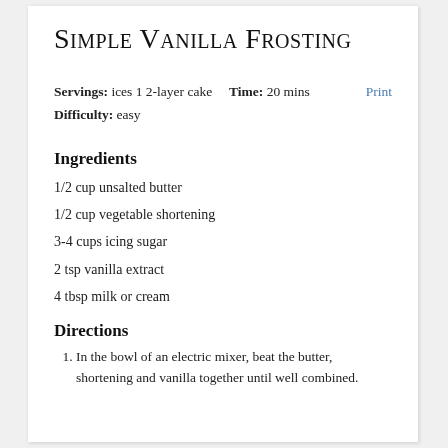Simple Vanilla Frosting
Servings: ices 1 2-layer cake   Time: 20 mins
Difficulty: easy
Ingredients
1/2 cup unsalted butter
1/2 cup vegetable shortening
3-4 cups icing sugar
2 tsp vanilla extract
4 tbsp milk or cream
Directions
1. In the bowl of an electric mixer, beat the butter, shortening and vanilla together until well combined.